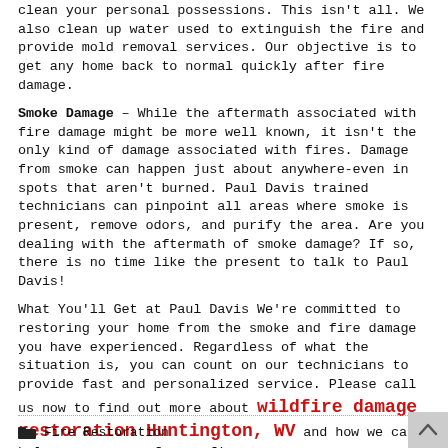clean your personal possessions. This isn't all. We also clean up water used to extinguish the fire and provide mold removal services. Our objective is to get any home back to normal quickly after fire damage.
Smoke Damage – While the aftermath associated with fire damage might be more well known, it isn't the only kind of damage associated with fires. Damage from smoke can happen just about anywhere-even in spots that aren't burned. Paul Davis trained technicians can pinpoint all areas where smoke is present, remove odors, and purify the area. Are you dealing with the aftermath of smoke damage? If so, there is no time like the present to talk to Paul Davis!
What You'll Get at Paul Davis We're committed to restoring your home from the smoke and fire damage you have experienced. Regardless of what the situation is, you can count on our technicians to provide fast and personalized service. Please call us now to find out more about wildfire damage restoration Huntington, WV and how we can help you recover from a fire.
Fire Restoration